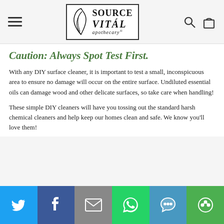Source Vital Apothecary — navigation header with logo, hamburger menu, search and cart icons
Caution: Always Spot Test First.
With any DIY surface cleaner, it is important to test a small, inconspicuous area to ensure no damage will occur on the entire surface. Undiluted essential oils can damage wood and other delicate surfaces, so take care when handling!
These simple DIY cleaners will have you tossing out the standard harsh chemical cleaners and help keep our homes clean and safe. We know you'll love them!
[Figure (other): Social share bar with Twitter, Facebook, Email, WhatsApp, SMS, and More buttons]